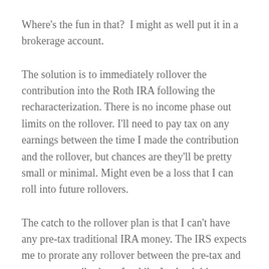Where's the fun in that?  I might as well put it in a brokerage account.
The solution is to immediately rollover the contribution into the Roth IRA following the recharacterization. There is no income phase out limits on the rollover. I'll need to pay tax on any earnings between the time I made the contribution and the rollover, but chances are they'll be pretty small or minimal. Might even be a loss that I can roll into future rollovers.
The catch to the rollover plan is that I can't have any pre-tax traditional IRA money. The IRS expects me to prorate any rollover between the pre-tax and post-tax contributions. Luckily, I solved this years ago by rolling all of our pre-tax contributions into 401(k)